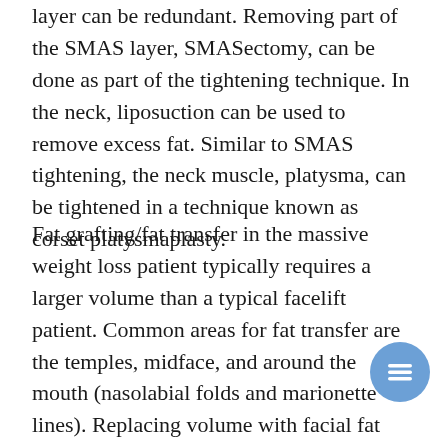layer can be redundant. Removing part of the SMAS layer, SMASectomy, can be done as part of the tightening technique. In the neck, liposuction can be used to remove excess fat. Similar to SMAS tightening, the neck muscle, platysma, can be tightened in a technique known as corset platysmaplasty.
Fat grafting/fat transfer in the massive weight loss patient typically requires a larger volume than a typical facelift patient. Common areas for fat transfer are the temples, midface, and around the mouth (nasolabial folds and marionette lines). Replacing volume with facial fat transfer fills the